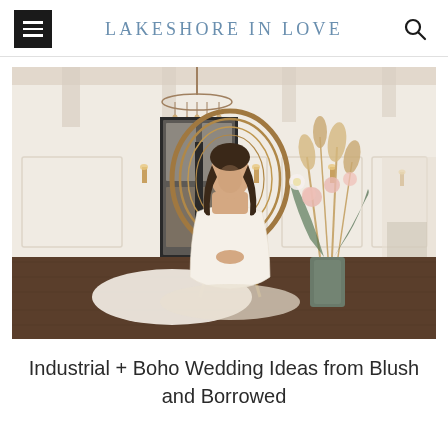LAKESHORE IN LOVE
[Figure (photo): A bride in a white lace wedding dress sitting in a wicker peacock chair in an elegant white-paneled event venue with dark hardwood floors. A large floral arrangement with pampas grass and blush flowers stands beside her. Chandeliers and sconces visible in background.]
Industrial + Boho Wedding Ideas from Blush and Borrowed